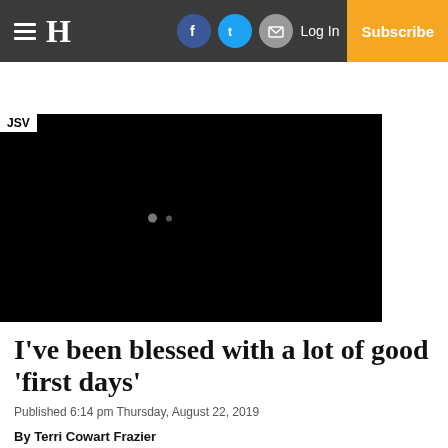H | Log In | Subscribe
[Figure (screenshot): Black video player area with JSV label in top-left corner and two small dots in the center]
I’ve been blessed with a lot of good ‘first days’
Published 6:14 pm Thursday, August 22, 2019
By Terri Cowart Frazier